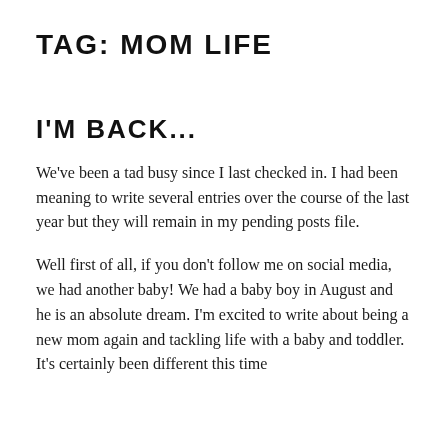TAG: MOM LIFE
I'M BACK...
We've been a tad busy since I last checked in.  I had been meaning to write several entries over the course of the last year but they will remain in my pending posts file.
Well first of all, if you don't follow me on social media, we had another baby!  We had a baby boy in August and he is an absolute dream.  I'm excited to write about being a new mom again and tackling life with a baby and toddler.  It's certainly been different this time